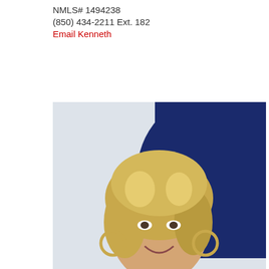NMLS# 1494238
(850) 434-2211 Ext. 182
Email Kenneth
[Figure (photo): Woman with blonde hair wearing a bright pink blouse and large hoop earrings, smiling, standing in front of a dark blue background]
Natalie Neal
Loan Officer
NMLS# 1534073
(850) 434-2211 Ext. 170
Email Natalie
[Figure (photo): Partial photo of another person, cropped at bottom of page]